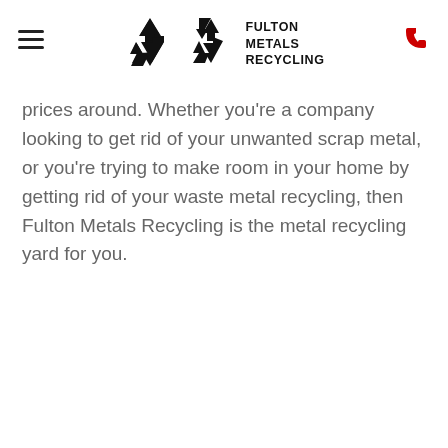FULTON METALS RECYCLING
prices around. Whether you're a company looking to get rid of your unwanted scrap metal, or you're trying to make room in your home by getting rid of your waste metal recycling, then Fulton Metals Recycling is the metal recycling yard for you.